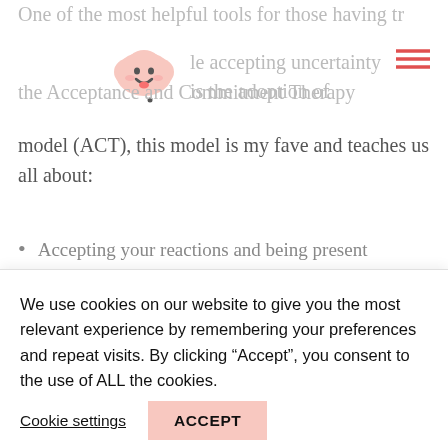[Figure (logo): Cute smiling cloud emoji/logo icon in pink/peach tones]
One of the most helpful tools for those having trouble accepting uncertainty is the adoption of the Acceptance and Commitment Therapy model (ACT), this model is my fave and teaches us all about:
Accepting your reactions and being present
Choosing a valued direction
Taking action
When you follow this model you are giving
We use cookies on our website to give you the most relevant experience by remembering your preferences and repeat visits. By clicking “Accept”, you consent to the use of ALL the cookies.
Cookie settings
ACCEPT